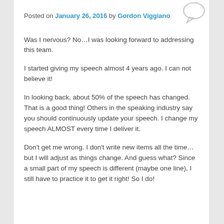Posted on January 26, 2016 by Gordon Viggiano
Was I nervous?  No…I was looking forward to addressing this team.
I started giving my speech almost 4 years ago. I can not believe it!
In looking back, about 50% of the speech has changed.  That is a good thing!  Others in the speaking industry say you should continuously update your speech.  I change my speech ALMOST every time I deliver it.
Don't get me wrong.  I don't write new items all the time… but I will adjust as things change.  And guess what? Since a small part of my speech is different (maybe one line), I still have to practice it to get it right!  So I do!